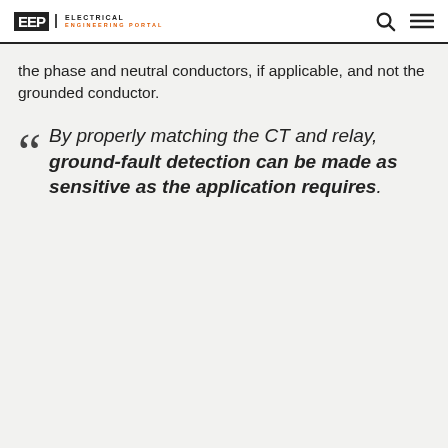EEP | ELECTRICAL ENGINEERING PORTAL
the phase and neutral conductors, if applicable, and not the grounded conductor.
By properly matching the CT and relay, ground-fault detection can be made as sensitive as the application requires.